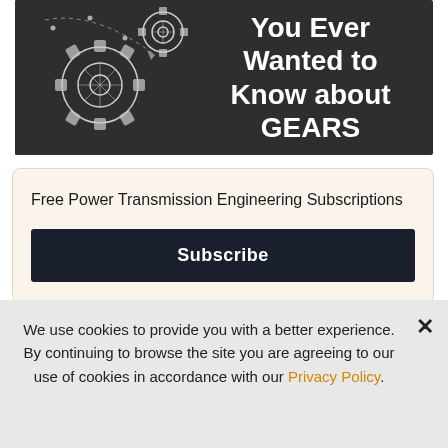[Figure (illustration): Dark banner image with white gear/cog illustration on the left and bold white text on the right reading 'You Ever Wanted to Know about GEARS']
Free Power Transmission Engineering Subscriptions
Subscribe
We use cookies to provide you with a better experience. By continuing to browse the site you are agreeing to our use of cookies in accordance with our Privacy Policy.